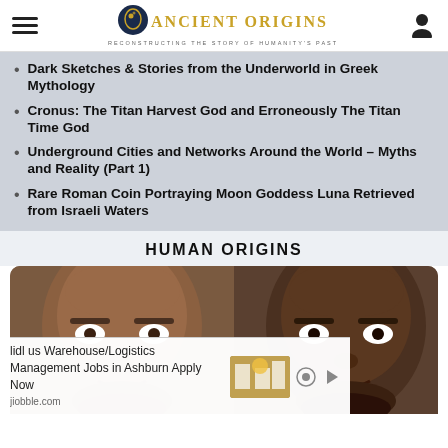Ancient Origins — Reconstructing the Story of Humanity's Past
Dark Sketches & Stories from the Underworld in Greek Mythology
Cronus: The Titan Harvest God and Erroneously The Titan Time God
Underground Cities and Networks Around the World – Myths and Reality (Part 1)
Rare Roman Coin Portraying Moon Goddess Luna Retrieved from Israeli Waters
HUMAN ORIGINS
[Figure (photo): Two human faces shown side by side, with an advertisement overlay at the bottom reading 'lidl us Warehouse/Logistics Management Jobs in Ashburn Apply Now' from jiobble.com]
lidl us Warehouse/Logistics Management Jobs in Ashburn Apply Now
jiobble.com